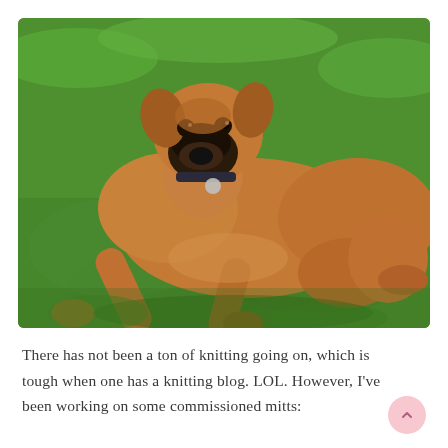[Figure (photo): A tan/brown dog with a black muzzle wearing a collar with a tag, lying on green grass with front legs stretched out, looking at the camera.]
There has not been a ton of knitting going on, which is tough when one has a knitting blog. LOL. However, I've been working on some commissioned mitts: